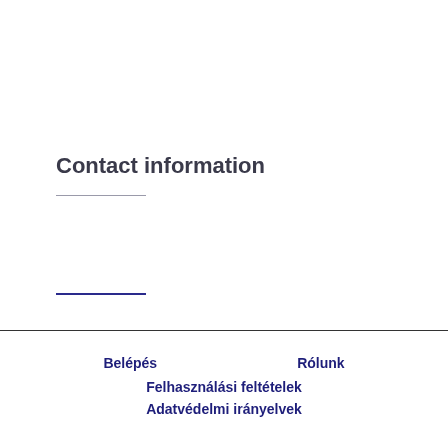Contact information
Belépés  Rólunk  Felhasználási feltételek  Adatvédelmi irányelvek